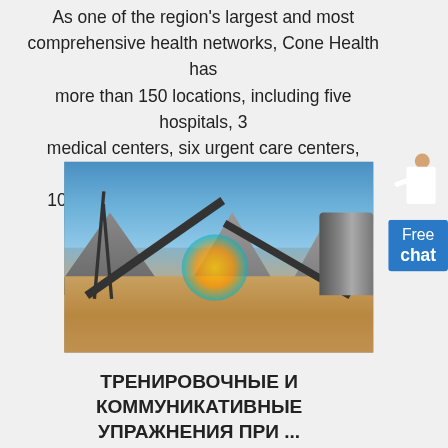As one of the region's largest and most comprehensive health networks, Cone Health has more than 150 locations, including five hospitals, 3 medical centers, six urgent care centers, more than 100 physician practice sites and multiple centers of excellence. Search for a Location.
[Figure (photo): Outdoor industrial site with conveyor belts, gravel piles, and heavy machinery under a blue sky. A circular logo watermark is visible in the center of the image.]
ТРЕНИРОВОЧНЫЕ И КОММУНИКАТИВНЫЕ УПРАЖНЕНИЯ ПРИ ...